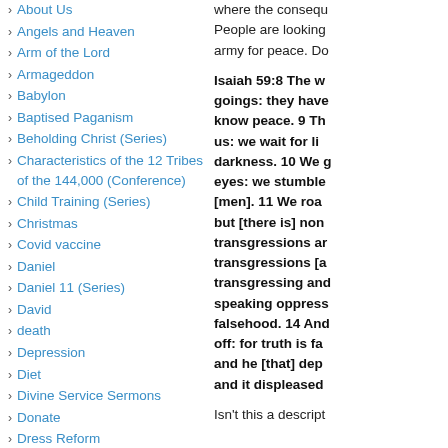About Us
Angels and Heaven
Arm of the Lord
Armageddon
Babylon
Baptised Paganism
Beholding Christ (Series)
Characteristics of the 12 Tribes of the 144,000 (Conference)
Child Training (Series)
Christmas
Covid vaccine
Daniel
Daniel 11 (Series)
David
death
Depression
Diet
Divine Service Sermons
Donate
Dress Reform
Education
where the consequ People are looking army for peace. Do
Isaiah 59:8 The w goings: they have know peace. 9 Th us: we wait for li darkness. 10 We g eyes: we stumble [men]. 11 We roa but [there is] non transgressions ar transgressions [a transgressing an speaking oppress falsehood. 14 An off: for truth is fa and he [that] dep and it displeased
Isn't this a descript